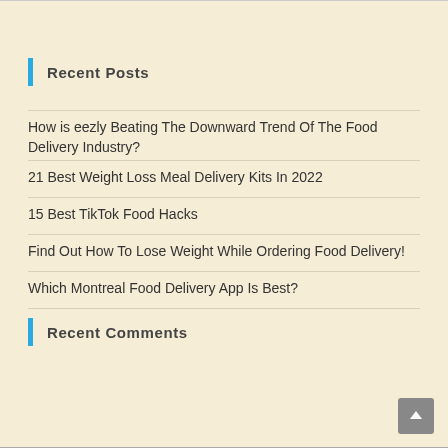Recent Posts
How is eezly Beating The Downward Trend Of The Food Delivery Industry?
21 Best Weight Loss Meal Delivery Kits In 2022
15 Best TikTok Food Hacks
Find Out How To Lose Weight While Ordering Food Delivery!
Which Montreal Food Delivery App Is Best?
Recent Comments